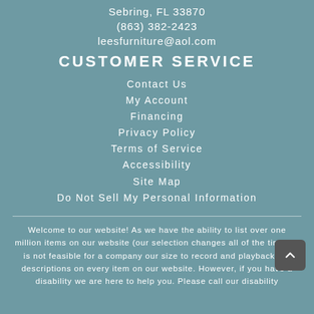Sebring, FL 33870
(863) 382-2423
leesfurniture@aol.com
CUSTOMER SERVICE
Contact Us
My Account
Financing
Privacy Policy
Terms of Service
Accessibility
Site Map
Do Not Sell My Personal Information
Welcome to our website! As we have the ability to list over one million items on our website (our selection changes all of the time), it is not feasible for a company our size to record and playback the descriptions on every item on our website. However, if you have a disability we are here to help you. Please call our disability